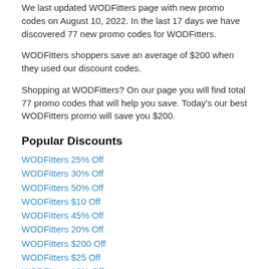We last updated WODFitters page with new promo codes on August 10, 2022. In the last 17 days we have discovered 77 new promo codes for WODFitters.
WODFitters shoppers save an average of $200 when they used our discount codes.
Shopping at WODFitters? On our page you will find total 77 promo codes that will help you save. Today's our best WODFitters promo will save you $200.
Popular Discounts
WODFitters 25% Off
WODFitters 30% Off
WODFitters 50% Off
WODFitters $10 Off
WODFitters 45% Off
WODFitters 20% Off
WODFitters $200 Off
WODFitters $25 Off
WODFitters 10% Off
WODFitters 43% Off